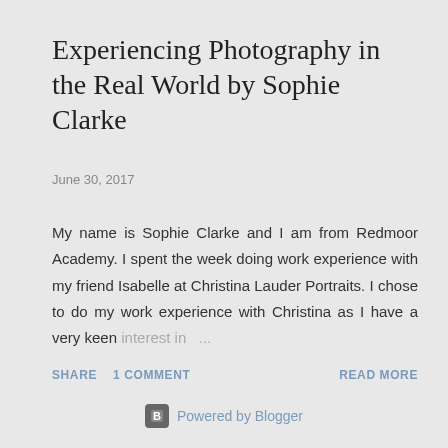Experiencing Photography in the Real World by Sophie Clarke
June 30, 2017
My name is Sophie Clarke and I am from Redmoor Academy. I spent the week doing work experience with my friend Isabelle at Christina Lauder Portraits. I chose to do my work experience with Christina as I have a very keen interest in ...
SHARE   1 COMMENT   READ MORE
Powered by Blogger